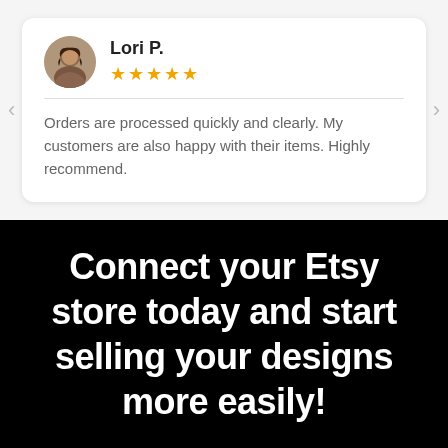[Figure (illustration): Circular avatar photo of reviewer Lori P.]
Lori P.
★★★★★
Orders are processed quickly and clearly. My customers are also happy with their items. Highly recommend.
Connect your Etsy store today and start selling your designs more easily!